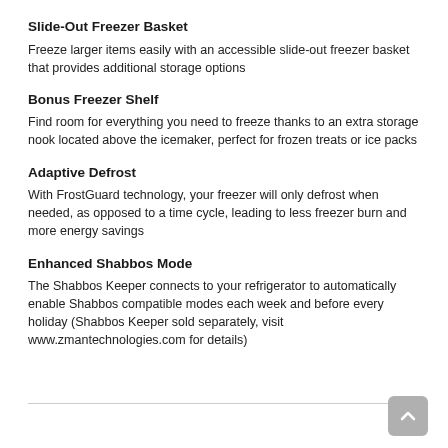Slide-Out Freezer Basket
Freeze larger items easily with an accessible slide-out freezer basket that provides additional storage options
Bonus Freezer Shelf
Find room for everything you need to freeze thanks to an extra storage nook located above the icemaker, perfect for frozen treats or ice packs
Adaptive Defrost
With FrostGuard technology, your freezer will only defrost when needed, as opposed to a time cycle, leading to less freezer burn and more energy savings
Enhanced Shabbos Mode
The Shabbos Keeper connects to your refrigerator to automatically enable Shabbos compatible modes each week and before every holiday (Shabbos Keeper sold separately, visit www.zmantechnologies.com for details)